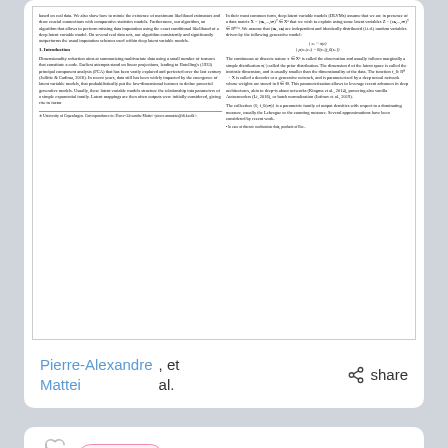[Figure (screenshot): Thumbnail preview of a scientific paper with two-column text layout including section titled '1. Introduction' and a formula block]
Pierre-Alexandre Mattei
, et al.
· share
research · 4 years ago
Leveraging the Exact Likelihood of Deep Latent Variables Models
Deep latent variable models combine the approximation abilities of deep ...